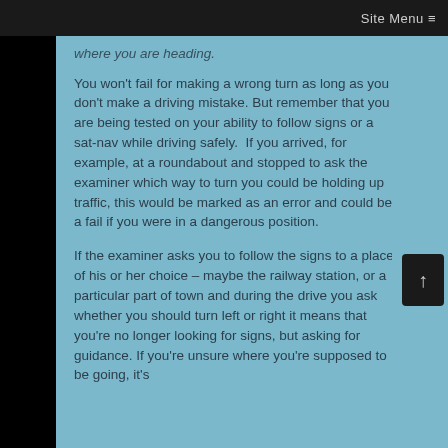Site Menu ≡
where you are heading.
You won't fail for making a wrong turn as long as you don't make a driving mistake. But remember that you are being tested on your ability to follow signs or a sat-nav while driving safely.  If you arrived, for example, at a roundabout and stopped to ask the examiner which way to turn you could be holding up traffic, this would be marked as an error and could be a fail if you were in a dangerous position.
If the examiner asks you to follow the signs to a place of his or her choice – maybe the railway station, or a particular part of town and during the drive you ask whether you should turn left or right it means that you're no longer looking for signs, but asking for guidance. If you're unsure where you're supposed to be going, it's